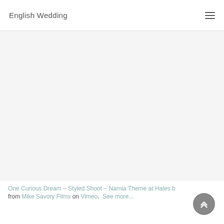English Wedding
[Figure (screenshot): A blank/white video embed area from Vimeo]
One Curious Dream – Styled Shoot – Narnia Theme at Hales b from Mike Savory Films on Vimeo. See more...